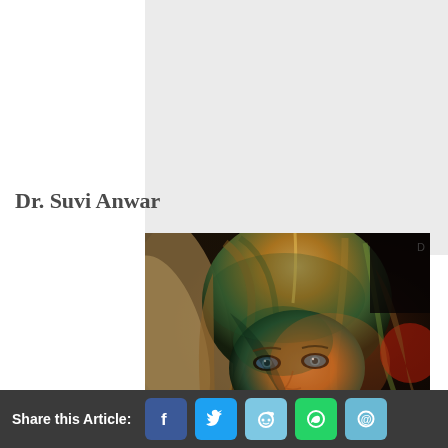[Figure (other): Gray background block placeholder area in upper right portion of page]
Dr. Suvi Anwar
[Figure (photo): Close-up 3D rendered image of a blonde female character (Dr. Suvi Anwar) with blue eyes, lit with orange/teal dramatic lighting, from a video game]
Share this Article: [Facebook] [Twitter] [Reddit] [WhatsApp] [Email]